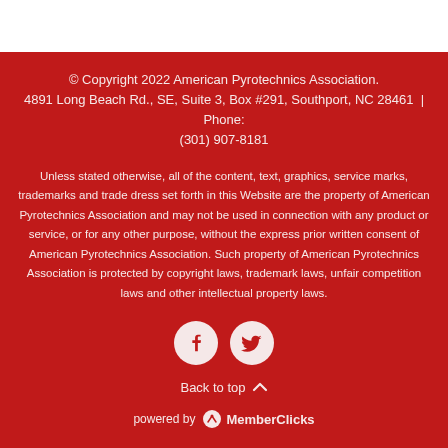© Copyright 2022 American Pyrotechnics Association. 4891 Long Beach Rd., SE, Suite 3, Box #291, Southport, NC 28461  | Phone: (301) 907-8181
Unless stated otherwise, all of the content, text, graphics, service marks, trademarks and trade dress set forth in this Website are the property of American Pyrotechnics Association and may not be used in connection with any product or service, or for any other purpose, without the express prior written consent of American Pyrotechnics Association. Such property of American Pyrotechnics Association is protected by copyright laws, trademark laws, unfair competition laws and other intellectual property laws.
[Figure (infographic): Two white circular social media icons on red background: Facebook (f) and Twitter (bird)]
Back to top ▲
powered by MemberClicks